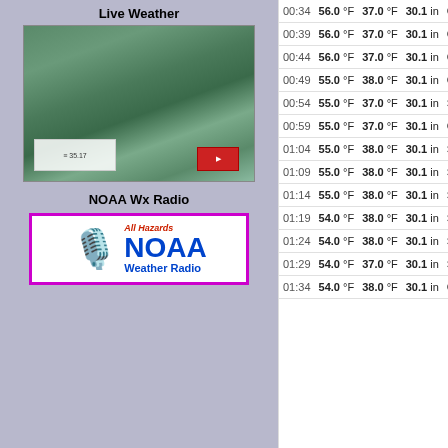Live Weather
[Figure (map): Live weather map showing terrain/satellite view with overlay panel]
NOAA Wx Radio
[Figure (logo): NOAA All Hazards Weather Radio logo with microphone icon, purple border]
| Time | Temp | Dew Point | Pressure | Wind Dir | Wind Speed |
| --- | --- | --- | --- | --- | --- |
| 00:34 | 56.0 °F | 37.0 °F | 30.1 in | Calm |  |
| 00:39 | 56.0 °F | 37.0 °F | 30.1 in | Calm |  |
| 00:44 | 56.0 °F | 37.0 °F | 30.1 in | Calm |  |
| 00:49 | 55.0 °F | 38.0 °F | 30.1 in | Calm |  |
| 00:54 | 55.0 °F | 37.0 °F | 30.1 in | SW | 2 mp |
| 00:59 | 55.0 °F | 37.0 °F | 30.1 in | Calm |  |
| 01:04 | 55.0 °F | 38.0 °F | 30.1 in | SW | 2 mp |
| 01:09 | 55.0 °F | 38.0 °F | 30.1 in | SW | 2 mp |
| 01:14 | 55.0 °F | 38.0 °F | 30.1 in | SW | 4 mp |
| 01:19 | 54.0 °F | 38.0 °F | 30.1 in | SW | 5 mp |
| 01:24 | 54.0 °F | 38.0 °F | 30.1 in | SSE | 7 mp |
| 01:29 | 54.0 °F | 37.0 °F | 30.1 in | SE | 4 mp |
| 01:34 | 54.0 °F | 38.0 °F | 30.1 in | Calm |  |